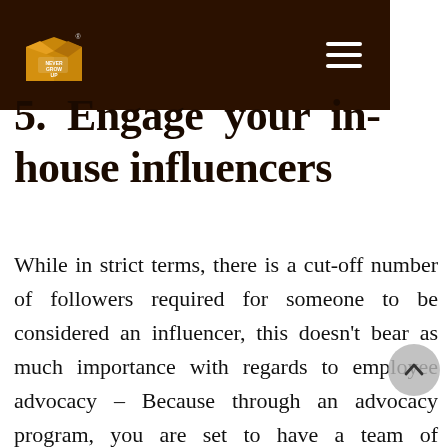Never Grow Up logo and navigation menu
5.  Engage  your  in-house influencers
While in strict terms, there is a cut-off number of followers required for someone to be considered an influencer, this doesn't bear as much importance with regards to employee advocacy – Because through an advocacy program, you are set to have a team of individuals representing your brand to the world. Due to its increasingly pervasive nature, social media has created a staggering number of micro-influencers. For many who use these platforms on a regular basis, the appropriate engagement measures, the follower counts run into at least a